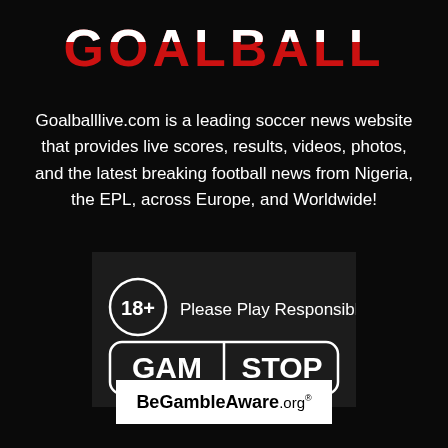GOALBALL
Goalballlive.com is a leading soccer news website that provides live scores, results, videos, photos, and the latest breaking football news from Nigeria, the EPL, across Europe, and Worldwide!
[Figure (logo): GamStop responsible gambling logo: 18+ circle icon with 'Please Play Responsibly' text and GamSTOP logo on dark background]
[Figure (logo): BeGambleAware.org logo on white background]